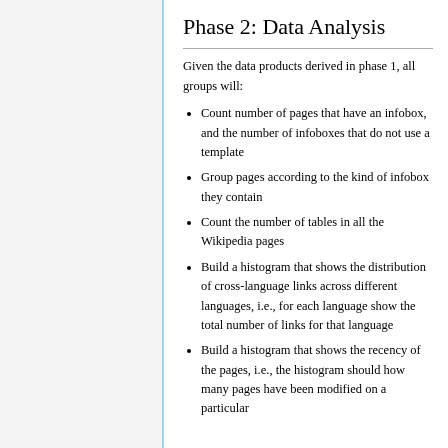Phase 2: Data Analysis
Given the data products derived in phase 1, all groups will:
Count number of pages that have an infobox, and the number of infoboxes that do not use a template
Group pages according to the kind of infobox they contain
Count the number of tables in all the Wikipedia pages
Build a histogram that shows the distribution of cross-language links across different languages, i.e., for each language show the total number of links for that language
Build a histogram that shows the recency of the pages, i.e., the histogram should how many pages have been modified on a particular